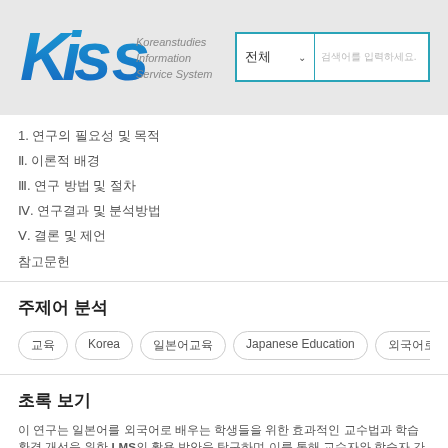[Figure (logo): KISS - Koreanstudies Information Service System logo with blue gradient text and search bar]
1. 연구의 필요성 및 목적
Ⅱ. 이론적 배경
Ⅲ. 연구 방법 및 절차
Ⅳ. 연구결과 및 분석방법
Ⅴ. 결론 및 제언
참고문헌
주제어 분석
교육  Korea  일본어교육  Japanese Education  외국어로서의일본어교육
초록 보기
이 연구는 일본어를 외국어로 배우는 학생들을 위한 효과적인 교수법과 학습 환경 개선을 위한 LMS의 활용 방안을 탐구하며 이를 통해 교수자와 학습자 간의 소통과 상호작용을 증진하는 방법을 모색한다